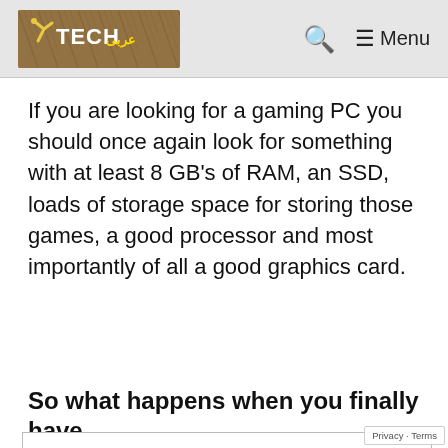TECH [logo] — Search — Menu
If you are looking for a gaming PC you should once again look for something with at least 8 GB's of RAM, an SSD, loads of storage space for storing those games, a good processor and most importantly of all a good graphics card.
So what happens when you finally have
Privacy & Cookies: This site uses cookies. By continuing to use this website, you agree to their use.
To find out more, including how to control cookies, see here:
Cookie Policy
Guest article written by: Dominik